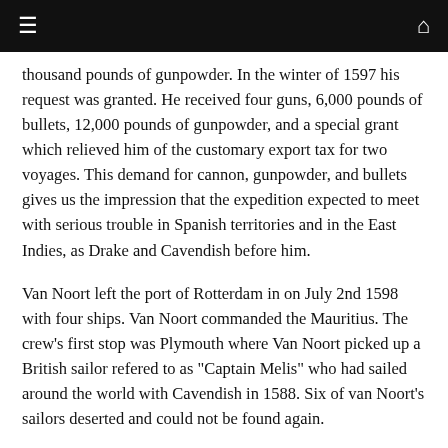thousand pounds of gunpowder. In the winter of 1597 his request was granted. He received four guns, 6,000 pounds of bullets, 12,000 pounds of gunpowder, and a special grant which relieved him of the customary export tax for two voyages. This demand for cannon, gunpowder, and bullets gives us the impression that the expedition expected to meet with serious trouble in Spanish territories and in the East Indies, as Drake and Cavendish before him.
Van Noort left the port of Rotterdam in on July 2nd 1598 with four ships. Van Noort commanded the Mauritius. The crew's first stop was Plymouth where Van Noort picked up a British sailor refered to as "Captain Melis" who had sailed around the world with Cavendish in 1588. Six of van Noort's sailors deserted and could not be found again.
The first part of the trip was along the coast of Africa and